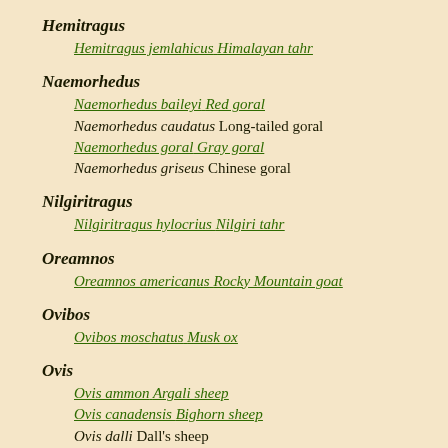Hemitragus
Hemitragus jemlahicus Himalayan tahr
Naemorhedus
Naemorhedus baileyi Red goral
Naemorhedus caudatus Long-tailed goral
Naemorhedus goral Gray goral
Naemorhedus griseus Chinese goral
Nilgiritragus
Nilgiritragus hylocrius Nilgiri tahr
Oreamnos
Oreamnos americanus Rocky Mountain goat
Ovibos
Ovibos moschatus Musk ox
Ovis
Ovis ammon Argali sheep
Ovis canadensis Bighorn sheep
Ovis dalli Dall's sheep